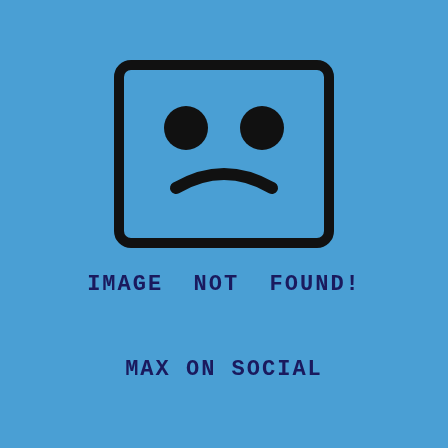[Figure (illustration): A sad face emoticon icon inside a rounded rectangle, drawn in black on a blue background. Two circular eyes and a downward curved mouth forming a frown.]
IMAGE NOT FOUND!
MAX ON SOCIAL